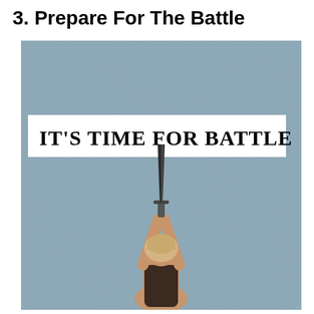3. Prepare For The Battle
[Figure (illustration): A person seen from behind with arms raised overhead holding a knife/dagger upward, set against a blue-grey denim-textured background. A white banner overlaid on the upper portion reads 'IT'S TIME FOR BATTLE' in large serif bold text.]